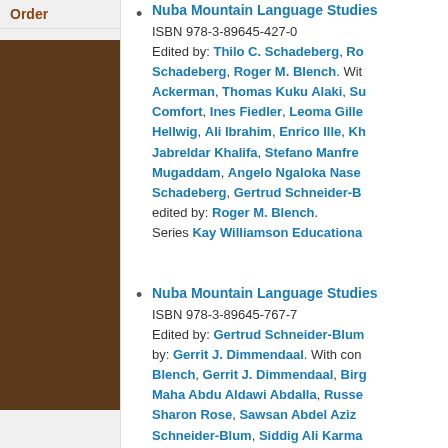Order
Nuba Mountain Language Studies. ISBN 978-3-89645-427-0. Edited by: Thilo C. Schadeberg, Roger M. Blench. With Ackerman, Thomas Kuku Alaki, Su Comfort, Ines Fiedler, Leoma Gille Hellwig, Ali Ibrahim, Enrico Ille, Kh Jabreldar Khalifa, Stefano Manfre Mugaddam, Angelo Ngaloka Nase Schadeberg, Gertrud Schneider-B edited by: Roger M. Blench. Series Kay Williamson Educationa
Nuba Mountain Language Studies. ISBN 978-3-89645-767-7. Edited by: Gertrud Schneider-Blum by: Gerrit J. Dimmendaal. With con Blench, Gerrit J. Dimmendaal, Birg Maha Abdu Aldawi Abdalla, Russe Sharon Rose, Sawsan Abdel Aziz Schneider-Blum, Siddig Ali Karma Nataliya Veit, Katherine Walker. Se Series Grammatical Analyses of Af